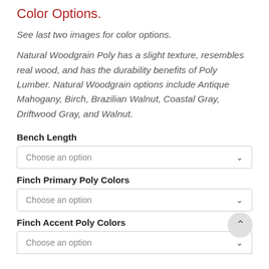Color Options.
See last two images for color options.
Natural Woodgrain Poly has a slight texture, resembles real wood, and has the durability benefits of Poly Lumber. Natural Woodgrain options include Antique Mahogany, Birch, Brazilian Walnut, Coastal Gray, Driftwood Gray, and Walnut.
Bench Length
Choose an option
Finch Primary Poly Colors
Choose an option
Finch Accent Poly Colors
Choose an option